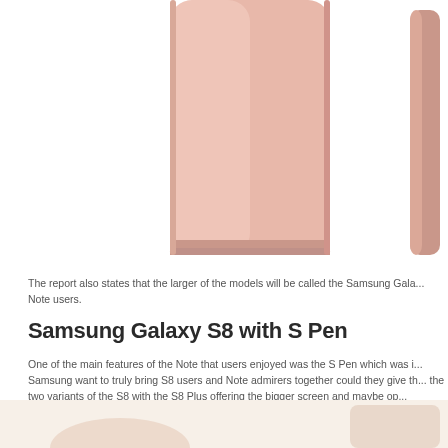[Figure (photo): Samsung Galaxy S8 phone shown from the back in rose gold/pink color, cropped showing bottom half of main device and partial side view of second device on the right edge]
The report also states that the larger of the models will be called the Samsung Gala... Note users.
Samsung Galaxy S8 with S Pen
One of the main features of the Note that users enjoyed was the S Pen which was i... Samsung want to truly bring S8 users and Note admirers together could they give th... the two variants of the S8 with the S8 Plus offering the bigger screen and maybe op...
[Figure (photo): Bottom of page showing partial phone images on a cream/beige background]